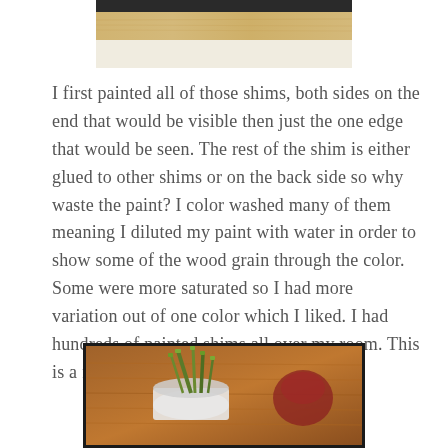[Figure (photo): Close-up photo of painted wood shims showing light tan wood with horizontal bands, dark background at top.]
I first painted all of those shims, both sides on the end that would be visible then just the one edge that would be seen.  The rest of the shim is either glued to other shims or on the back side so why waste the paint?  I color washed many of them meaning I diluted my paint with water in order to show some of the wood grain through the color.  Some were more saturated so I had more variation out of one color which I liked.  I had hundreds of painted shims all over my room.  This is a fraction of them.
[Figure (photo): Photo of green plant stems or sticks arranged in a white cup/vase, placed on a wooden surface with warm brown tones.]